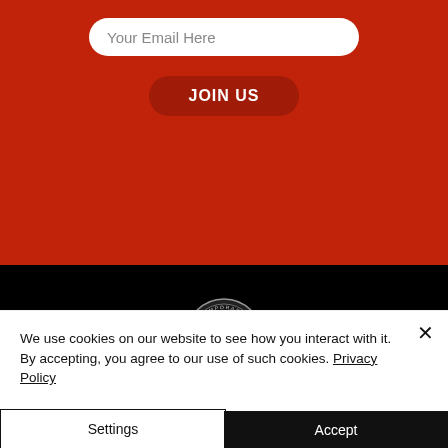Your Email Here
JOIN US
[Figure (logo): Contemporary Art Gallery Online circular logo with red and white design]
CONTEMPORARY ART GALLERY ONLINE
Showcasing Tomorrow's Art Giants Today
S
We use cookies on our website to see how you interact with it. By accepting, you agree to our use of such cookies. Privacy Policy
Settings
Accept